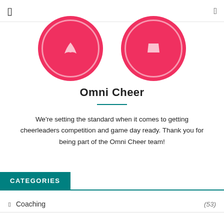[Figure (illustration): Two partially visible circular red/pink badge icons with white decorative inner rings, cropped at the top of the page]
Omni Cheer
We're setting the standard when it comes to getting cheerleaders competition and game day ready. Thank you for being part of the Omni Cheer team!
CATEGORIES
Coaching (53)